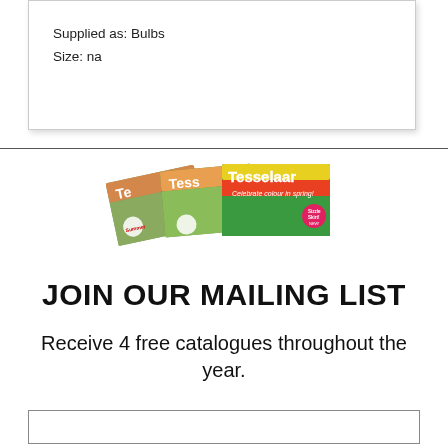Supplied as: Bulbs
Size: na
[Figure (illustration): Three overlapping Tesselaar brand gardening catalogues/brochures fanned out, showing colorful flower images on covers with the Tesselaar brand name visible.]
JOIN OUR MAILING LIST
Receive 4 free catalogues throughout the year.